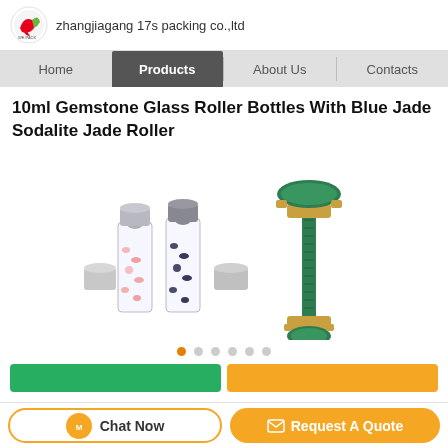zhangjiagang 17s packing co.,ltd
10ml Gemstone Glass Roller Bottles With Blue Jade Sodalite Jade Roller
[Figure (photo): Product photo showing two small glass roller bottles with gemstone chips inside and silver caps beside them, plus a green jade facial roller tool with gold metal handle on the right.]
Chat Now
Request A Quote